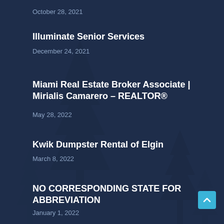October 28, 2021
Illuminate Senior Services
December 24, 2021
Miami Real Estate Broker Associate | Mirialis Camarero – REALTOR®
May 28, 2022
Kwik Dumpster Rental of Elgin
March 8, 2022
NO CORRESPONDING STATE FOR ABBREVIATION
January 1, 2022